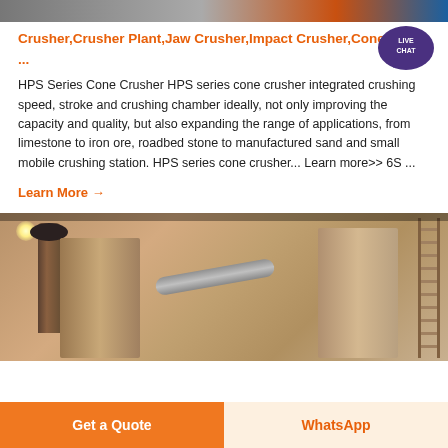[Figure (photo): Top banner image of crusher/industrial equipment]
Crusher,Crusher Plant,Jaw Crusher,Impact Crusher,Cone ...
[Figure (illustration): Live Chat badge/bubble icon in purple]
HPS Series Cone Crusher HPS series cone crusher integrated crushing speed, stroke and crushing chamber ideally, not only improving the capacity and quality, but also expanding the range of applications, from limestone to iron ore, roadbed stone to manufactured sand and small mobile crushing station. HPS series cone crusher... Learn more>> 6S ...
Learn More →
[Figure (photo): Industrial plant interior with silos and pipes]
Get a Quote
WhatsApp